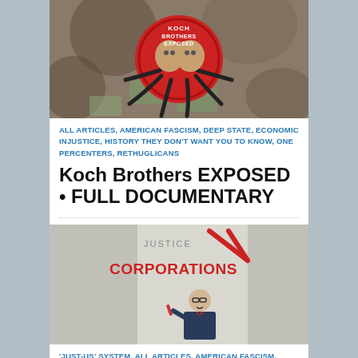[Figure (illustration): Koch Brothers Exposed circular logo/illustration with an octopus motif, red badge with text, surrounded by faces and money imagery]
ALL ARTICLES, AMERICAN FASCISM, DEEP STATE, ECONOMIC INJUSTICE, HISTORY THEY DON'T WANT YOU TO KNOW, ONE PERCENTERS, RETHUGLICANS
Koch Brothers EXPOSED • FULL DOCUMENTARY
[Figure (illustration): Cartoon illustration showing a man writing 'CORPORATIONS' with a red marker/pen, political cartoon style]
'JUST-US' SYSTEM, ALL ARTICLES, AMERICAN FASCISM, DEEP STATE, ONE PERCENTERS
How A Trojan Horse Project To Rewrite